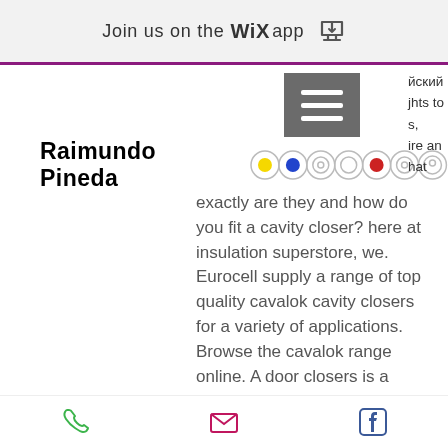Join us on the WiX app
йский
jhts to
s,
ire an
hat
Raimundo Pineda
exactly are they and how do you fit a cavity closer? here at insulation superstore, we. Eurocell supply a range of top quality cavalok cavity closers for a variety of applications. Browse the cavalok range online. A door closers is a mechanical device which closes a door automatically. This article will help you decide out of several door closer types which door. The overhead concealed closer series features heavy duty construction and smooth, quiet operation. Featuring a high strength cast iron cylinder,
Phone | Email | Facebook